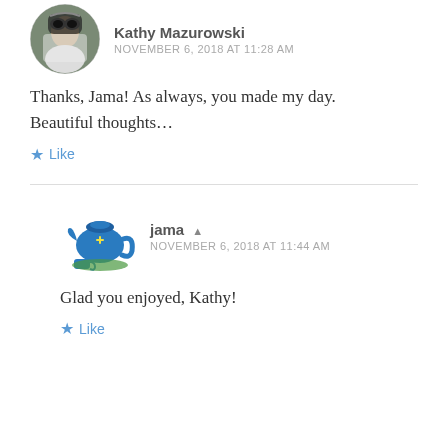[Figure (photo): Circular avatar photo of Kathy Mazurowski, a person wearing sunglasses and a white outfit]
Kathy Mazurowski
NOVEMBER 6, 2018 AT 11:28 AM
Thanks, Jama! As always, you made my day. Beautiful thoughts...
★ Like
[Figure (illustration): Blue teapot illustration used as avatar for jama]
jama
NOVEMBER 6, 2018 AT 11:44 AM
Glad you enjoyed, Kathy!
★ Like